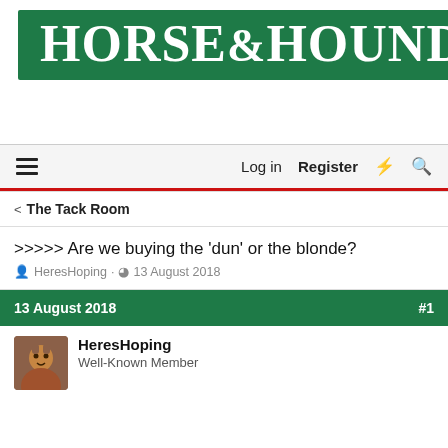[Figure (logo): Horse & Hound magazine logo on green background]
Log in  Register
The Tack Room
>>>>> Are we buying the 'dun' or the blonde?
HeresHoping · 13 August 2018
13 August 2018  #1
HeresHoping
Well-Known Member